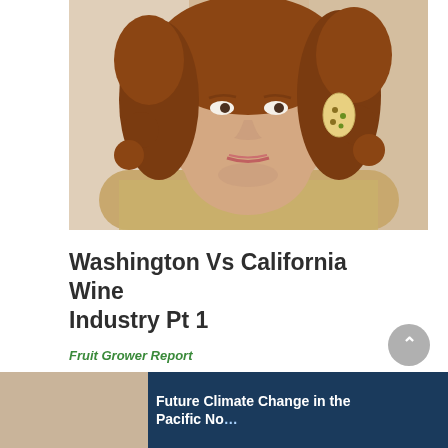[Figure (photo): Close-up portrait photo of a woman with curly red-brown hair, wearing gold oval earrings and a gold/cream lace top, smiling, cropped at neck/shoulder level]
Washington Vs California Wine Industry Pt 1
Fruit Grower Report
READ MORE →
[Figure (photo): Partially visible image at bottom — left portion shows warm brown tones, right portion shows blue background with white text reading 'Future Climate Change in the Pacific No...' (truncated)]